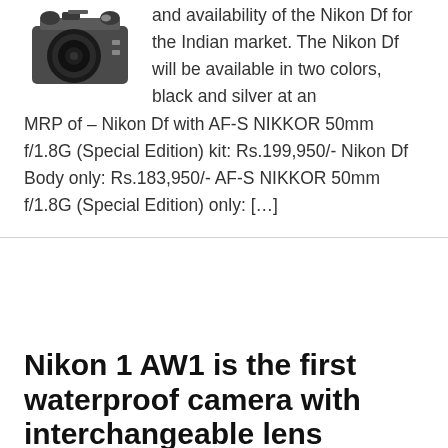[Figure (photo): Photo of a Nikon Df camera with lens attached, shown in grey/black color]
and availability of the Nikon Df for the Indian market. The Nikon Df will be available in two colors, black and silver at an MRP of – Nikon Df with AF-S NIKKOR 50mm f/1.8G (Special Edition) kit: Rs.199,950/- Nikon Df Body only: Rs.183,950/- AF-S NIKKOR 50mm f/1.8G (Special Edition) only: […]
FILED UNDER: DIGITAL CAMERA, FEATURED
Nikon 1 AW1 is the first waterproof camera with interchangeable lens